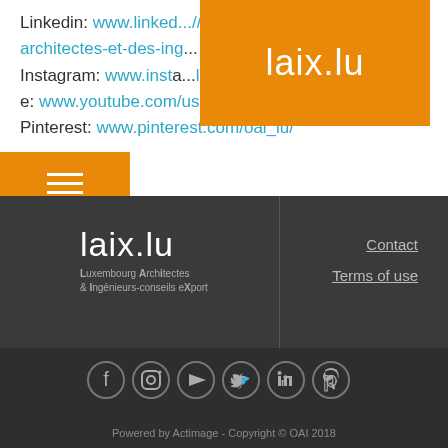Linkedin: www.linkedin.com/company/oai---ordre-des-architectes-et-des-ing...
Instagram: www.insta...lu/
Youtube: www.youtube.com/user/OAILuxembourg
Pinterest: www.pinterest.com/oai_lu/
[Figure (logo): laix.lu orange logo overlay]
[Figure (logo): Hamburger menu orange overlay]
[Figure (logo): laix.lu footer logo - Luxembourg Architectes & Ingenieurs-conseils eXport]
Contact
Terms of use
[Figure (illustration): Social media icons: Facebook, Instagram, YouTube, Twitter, LinkedIn, Pinterest]
Powered by Actimage - Copyright © OAI 2018